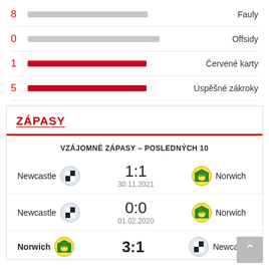| Value | Bar | Label |
| --- | --- | --- |
| 8 | (grey bar) | Fauly |
| 0 | (grey bar) | Offsidy |
| 1 | (red bar) | Červené karty |
| 5 | (red bar) | Úspěšné zákroky |
ZÁPASY
VZÁJOMNÉ ZÁPASY – POSLEDNÝCH 10
Newcastle  1:1  Norwich  30.11.2021
Newcastle  0:0  Norwich  01.02.2020
Norwich  3:1  Newcastle